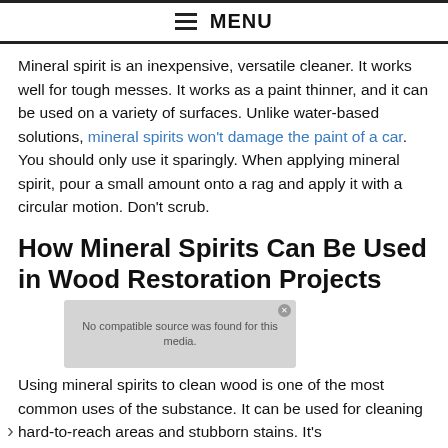MENU
Mineral spirit is an inexpensive, versatile cleaner. It works well for tough messes. It works as a paint thinner, and it can be used on a variety of surfaces. Unlike water-based solutions, mineral spirits won't damage the paint of a car. You should only use it sparingly. When applying mineral spirit, pour a small amount onto a rag and apply it with a circular motion. Don't scrub.
How Mineral Spirits Can Be Used in Wood Restoration Projects
[Figure (other): Video player overlay showing 'No compatible source was found for this media.' message on a grey background with a close button.]
Using mineral spirits to clean wood is one of the most common uses of the substance. It can be used for cleaning hard-to-reach areas and stubborn stains. It's